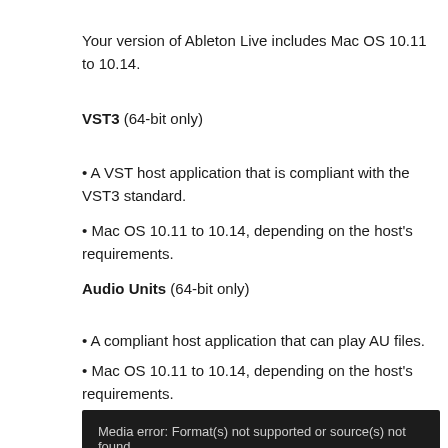Your version of Ableton Live includes Mac OS 10.11 to 10.14.
VST3 (64-bit only)
• A VST host application that is compliant with the VST3 standard.
• Mac OS 10.11 to 10.14, depending on the host's requirements.
Audio Units (64-bit only)
• A compliant host application that can play AU files.
• Mac OS 10.11 to 10.14, depending on the host's requirements.
Media error: Format(s) not supported or source(s) not found